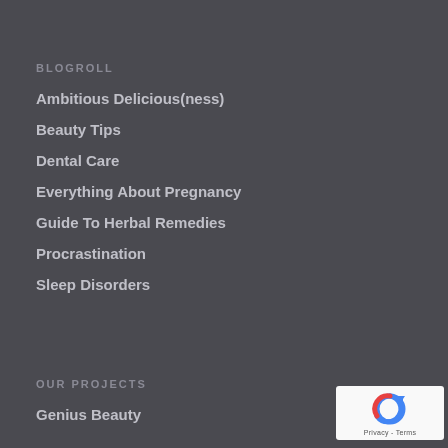BLOGROLL
Ambitious Delicious(ness)
Beauty Tips
Dental Care
Everything About Pregnancy
Guide To Herbal Remedies
Procrastination
Sleep Disorders
OUR PROJECTS
Genius Beauty
[Figure (logo): reCAPTCHA logo badge with circular arrow icon and Privacy - Terms text]